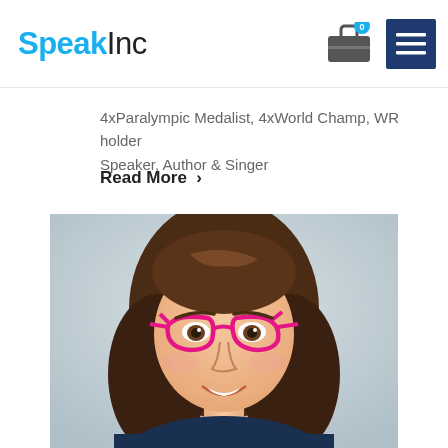SpeakInc
4xParalympic Medalist, 4xWorld Champ, WR holder
Speaker, Author & Singer
Read More >
[Figure (photo): Professional headshot of a woman with long brown wavy hair, wearing pink cat-eye glasses and a dark top, smiling against a light gray background]